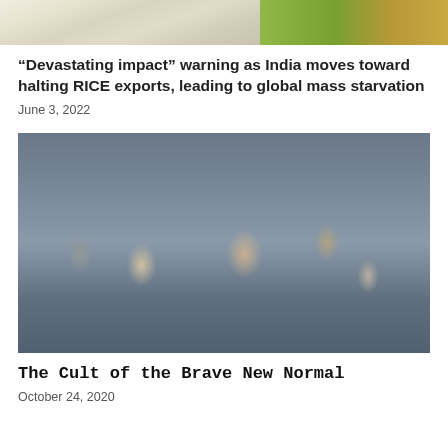[Figure (photo): Cropped top portion of a photo showing rice grains on the left and green/yellow rice stalks on the right]
“Devastating impact” warning as India moves toward halting RICE exports, leading to global mass starvation
June 3, 2022
[Figure (photo): A large crowd of people all wearing face masks outdoors, photographed in bright daylight]
The Cult of the Brave New Normal
October 24, 2020